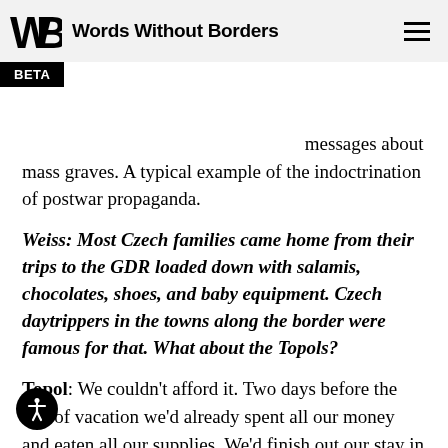Words Without Borders
he thinks he's hearing all these secret messages about mass graves. A typical example of the indoctrination of postwar propaganda.
Weiss: Most Czech families came home from their trips to the GDR loaded down with salamis, chocolates, shoes, and baby equipment. Czech daytrippers in the towns along the border were famous for that. What about the Topols?
Topol: We couldn't afford it. Two days before the end of vacation we'd already spent all our money and eaten all our supplies. We'd finish out our stay in poverty and hunger in a tiny little cottage.